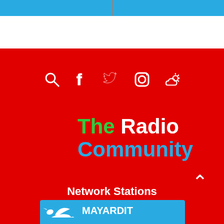[Figure (illustration): Top blue horizontal bar with a vertical divider line in the center, followed by a white band below it — part of a website header design.]
[Figure (infographic): Row of white social media icons on red background: search (magnifying glass), Facebook, Twitter, Instagram, and weather (sun/cloud) icon.]
The Radio Community
Network Stations
[Figure (logo): Mayardit 90.7 FM logo on a blue banner with a white bird (heron/crane) illustration on the left.]
[Figure (logo): Partial second blue station banner visible at the bottom of the page.]